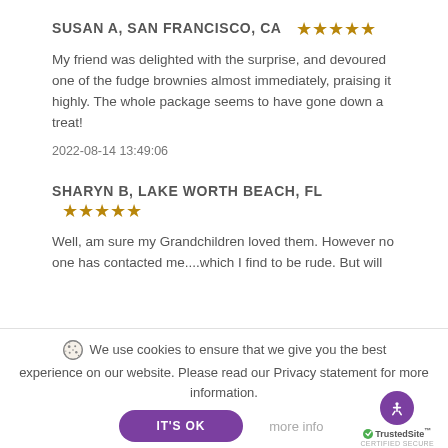SUSAN A, SAN FRANCISCO, CA ★★★★★
My friend was delighted with the surprise, and devoured one of the fudge brownies almost immediately, praising it highly. The whole package seems to have gone down a treat!
2022-08-14 13:49:06
SHARYN B, LAKE WORTH BEACH, FL ★★★★★
Well, am sure my Grandchildren loved them. However no one has contacted me....which I find to be rude. But will
🍪 We use cookies to ensure that we give you the best experience on our website. Please read our Privacy statement for more information.
IT'S OK   more info